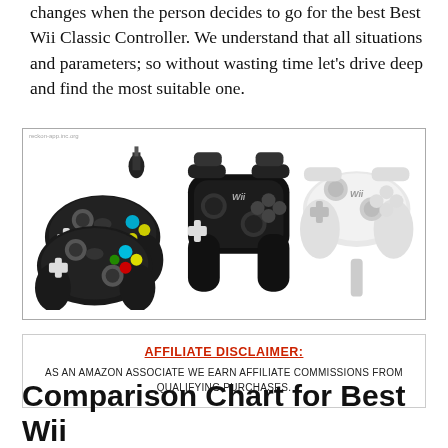changes when the person decides to go for the best Best Wii Classic Controller. We understand that all situations and parameters; so without wasting time let’s drive deep and find the most suitable one.
[Figure (photo): Three Wii classic controllers shown: two black GameCube-style controllers with colorful buttons and a connector cable, one black Wii Classic Controller Pro, and one white Wii Classic Controller. Small watermark text in upper left corner.]
AFFILIATE DISCLAIMER:
AS AN AMAZON ASSOCIATE WE EARN AFFILIATE COMMISSIONS FROM QUALIFYING PURCHASES.
Comparison Chart for Best Wii